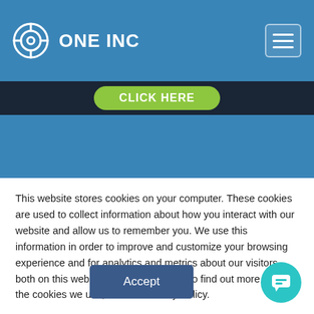ONE INC
[Figure (screenshot): One Inc website header with blue background, logo on left, hamburger menu button on right, dark navigation bar with green 'Click Here' button, and blue section showing tops of two phone devices]
This website stores cookies on your computer. These cookies are used to collect information about how you interact with our website and allow us to remember you. We use this information in order to improve and customize your browsing experience and for analytics and metrics about our visitors both on this website and other media. To find out more about the cookies we use, see our Privacy Policy.
[Figure (other): Accept button and chat bubble icon]